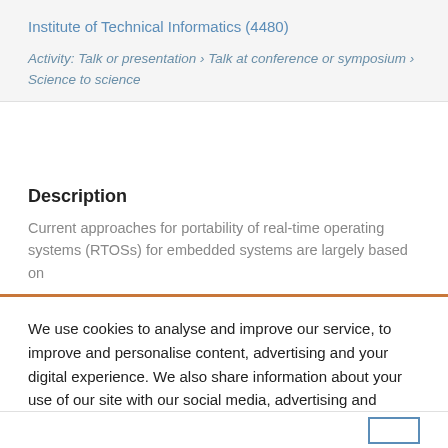Institute of Technical Informatics (4480)
Activity: Talk or presentation › Talk at conference or symposium › Science to science
Description
Current approaches for portability of real-time operating systems (RTOSs) for embedded systems are largely based on
We use cookies to analyse and improve our service, to improve and personalise content, advertising and your digital experience. We also share information about your use of our site with our social media, advertising and analytics partners.  Cookie Policy